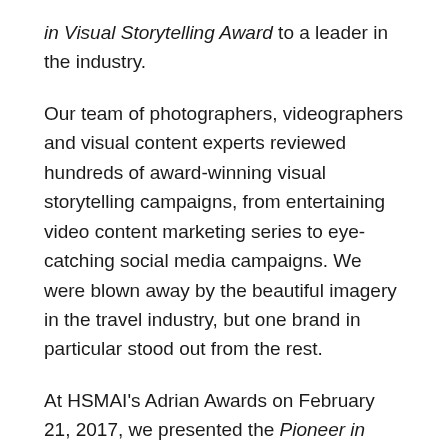in Visual Storytelling Award to a leader in the industry.
Our team of photographers, videographers and visual content experts reviewed hundreds of award-winning visual storytelling campaigns, from entertaining video content marketing series to eye-catching social media campaigns. We were blown away by the beautiful imagery in the travel industry, but one brand in particular stood out from the rest.
At HSMAI's Adrian Awards on February 21, 2017, we presented the Pioneer in Visual Storytelling Award to Newfoundland and Labrador Tourism. The Canadian province wowed us with its 'Broader